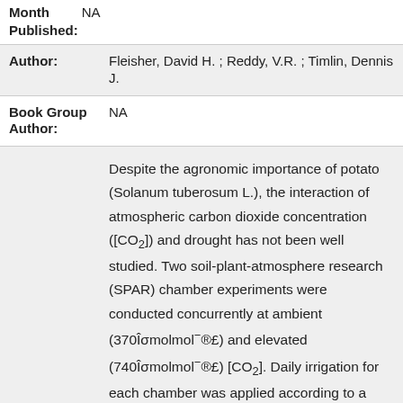| Month Published: | NA |
| Author: | Fleisher, David H. ; Reddy, V.R. ; Timlin, Dennis J. |
| Book Group Author: | NA |
|  | Despite the agronomic importance of potato (Solanum tuberosum L.), the interaction of atmospheric carbon dioxide concentration ([CO₂]) and drought has not been well studied. Two soil-plant-atmosphere research (SPAR) chamber experiments were conducted concurrently at ambient (370Îσmolmol⁻®£) and elevated (740Îσmolmol⁻®£) [CO₂]. Daily irrigation for each chamber was applied according to a fixed percentage of the water uptake measured from the previous day from... |